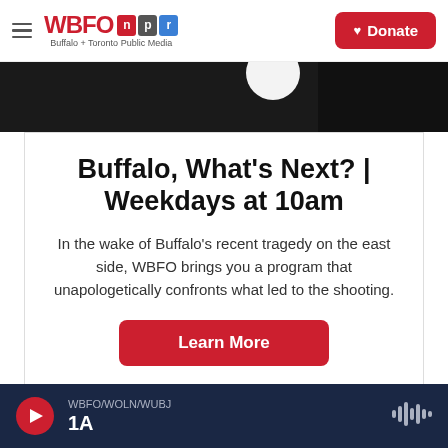WBFO NPR Buffalo + Toronto Public Media | Donate
[Figure (photo): Dark banner image strip with white circular element]
Buffalo, What's Next? | Weekdays at 10am
In the wake of Buffalo's recent tragedy on the east side, WBFO brings you a program that unapologetically confronts what led to the shooting.
Learn More
WBFO/WOLN/WUBJ 1A